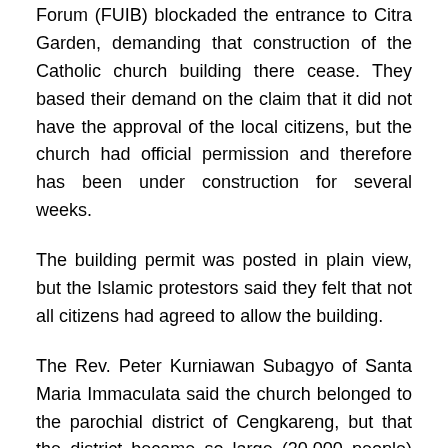Forum (FUIB) blockaded the entrance to Citra Garden, demanding that construction of the Catholic church building there cease. They based their demand on the claim that it did not have the approval of the local citizens, but the church had official permission and therefore has been under construction for several weeks.
The building permit was posted in plain view, but the Islamic protestors said they felt that not all citizens had agreed to allow the building.
The Rev. Peter Kurniawan Subagyo of Santa Maria Immaculata said the church belonged to the parochial district of Cengkareng, but that the district became so large (20,000 people) that a separate parish needed to be established. The church had found an 8,000-square-meter lot in Citra Garden.